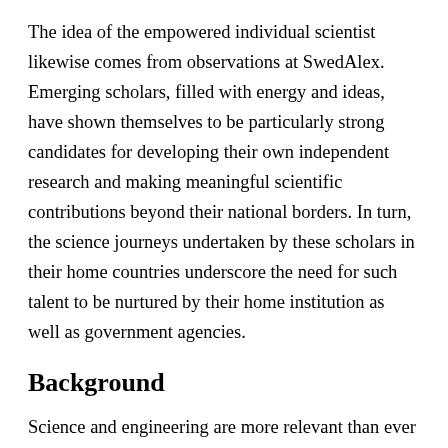The idea of the empowered individual scientist likewise comes from observations at SwedAlex. Emerging scholars, filled with energy and ideas, have shown themselves to be particularly strong candidates for developing their own independent research and making meaningful scientific contributions beyond their national borders. In turn, the science journeys undertaken by these scholars in their home countries underscore the need for such talent to be nurtured by their home institution as well as government agencies.
Background
Science and engineering are more relevant than ever in today's global society. In seeking to discover how the world works in increasing detail, scientists recognize the accelerating urgency with which they must address energy, environment,